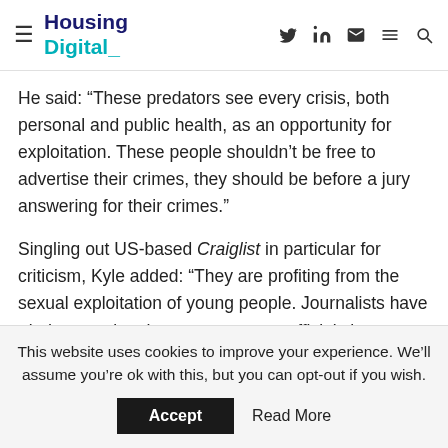Housing Digital
He said: “These predators see every crisis, both personal and public health, as an opportunity for exploitation. These people shouldn’t be free to advertise their crimes, they should be before a jury answering for their crimes.”
Singling out US-based Craiglist in particular for criticism, Kyle added: “They are profiting from the sexual exploitation of young people. Journalists have tried contacting them, government officials have tried, and I have numerous times, but they don’t bother responding.
“Put simply, they’re acting like pimps, so why aren’t we treating them as such?”
This website uses cookies to improve your experience. We’ll assume you’re ok with this, but you can opt-out if you wish.